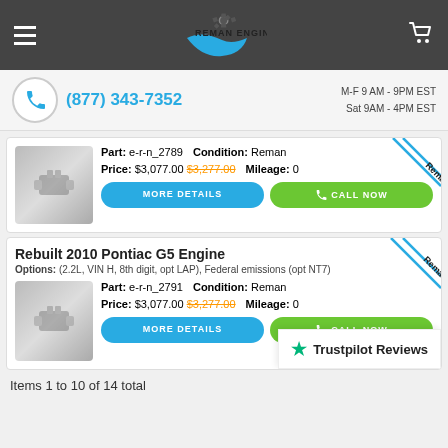Reman Engine
(877) 343-7352  M-F 9 AM - 9PM EST  Sat 9AM - 4PM EST
Part: e-r-n_2789  Condition: Reman  Price: $3,077.00 $3,277.00  Mileage: 0
MORE DETAILS  CALL NOW
Rebuilt 2010 Pontiac G5 Engine
Options: (2.2L, VIN H, 8th digit, opt LAP), Federal emissions (opt NT7)
Part: e-r-n_2791  Condition: Reman  Price: $3,077.00 $3,277.00  Mileage: 0
MORE DETAILS  CALL NOW
Trustpilot Reviews
Items 1 to 10 of 14 total